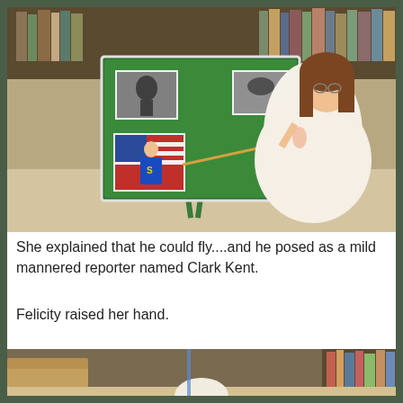[Figure (photo): A doll dressed in a white and peach dress with glasses and brown hair, pointing a wooden stick at a green chalkboard on an easel. The chalkboard has black-and-white photos and a color Superman photo pinned to it. Bookshelves are visible in the background.]
She explained that he could fly....and he posed as a mild mannered reporter named Clark Kent.
Felicity raised her hand.
[Figure (photo): Partial view of another scene in the same library/living room setting with bookshelves and furniture, with a doll visible at the bottom.]